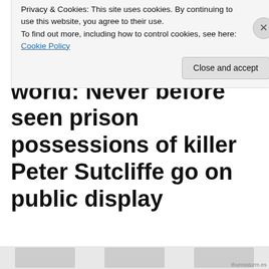03RD SEPTEMBER 2012
Chilling insight into the Yorkshire Ripper’s world: Never before seen prison possessions of killer Peter Sutcliffe go on public display
Privacy & Cookies: This site uses cookies. By continuing to use this website, you agree to their use.
To find out more, including how to control cookies, see here: Cookie Policy
Close and accept